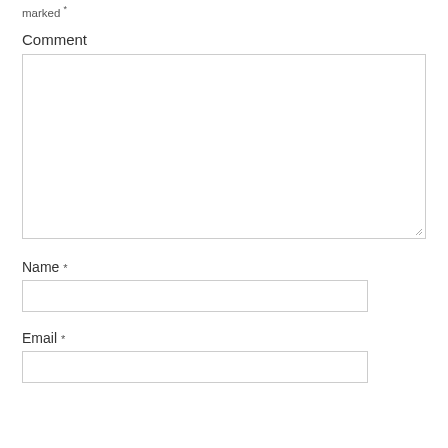marked *
Comment
[Figure (screenshot): Empty comment textarea form field with resize handle]
Name *
[Figure (screenshot): Empty name text input field]
Email *
[Figure (screenshot): Empty email text input field (partially visible)]